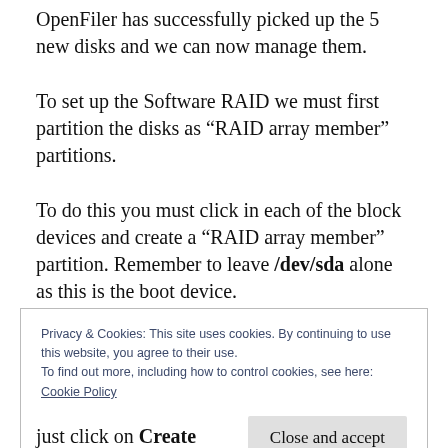OpenFiler has successfully picked up the 5 new disks and we can now manage them.
To set up the Software RAID we must first partition the disks as “RAID array member” partitions.
To do this you must click in each of the block devices and create a “RAID array member” partition. Remember to leave /dev/sda alone as this is the boot device.
Privacy & Cookies: This site uses cookies. By continuing to use this website, you agree to their use.
To find out more, including how to control cookies, see here:
Cookie Policy
Close and accept
just click on Create